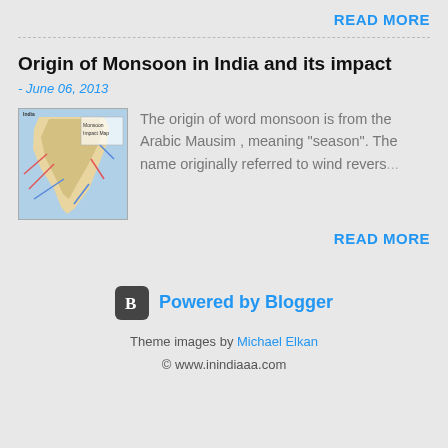READ MORE
Origin of Monsoon in India and its impact
- June 06, 2013
[Figure (map): India Monsoon Impact Map showing wind patterns over Indian subcontinent]
The origin of word monsoon is from the Arabic Mausim , meaning "season". The name originally referred to wind revers...
READ MORE
Powered by Blogger
Theme images by Michael Elkan
© www.inindiaaa.com